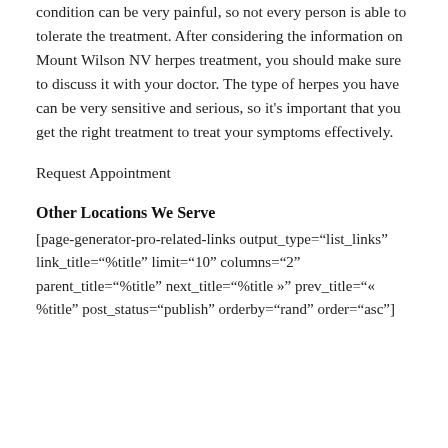condition can be very painful, so not every person is able to tolerate the treatment. After considering the information on Mount Wilson NV herpes treatment, you should make sure to discuss it with your doctor. The type of herpes you have can be very sensitive and serious, so it's important that you get the right treatment to treat your symptoms effectively.
Request Appointment
Other Locations We Serve
[page-generator-pro-related-links output_type="list_links" link_title="%title" limit="10" columns="2" parent_title="%title" next_title="%title »" prev_title="« %title" post_status="publish" orderby="rand" order="asc"]